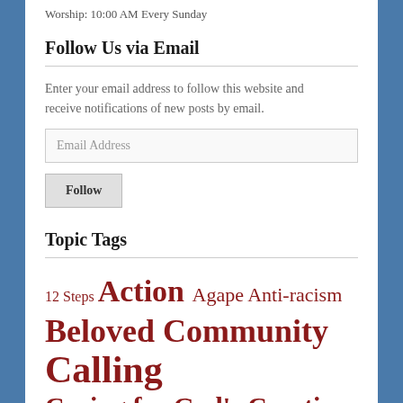Worship: 10:00 AM Every Sunday
Follow Us via Email
Enter your email address to follow this website and receive notifications of new posts by email.
Email Address
Follow
Topic Tags
12 Steps Action Agape Anti-racism Beloved Community Calling Caring for God's Creation